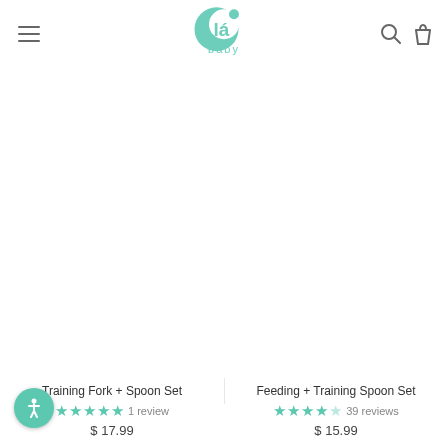Ola Baby - navigation header with logo, hamburger menu, search and cart icons
[Figure (photo): Product image area for Training Fork + Spoon Set (image not loaded/white)]
Training Fork + Spoon Set
5 stars - 1 review
$ 17.99
[Figure (photo): Product image area for Feeding + Training Spoon Set (image not loaded/white)]
Feeding + Training Spoon Set
4.5 stars - 39 reviews
$ 15.99